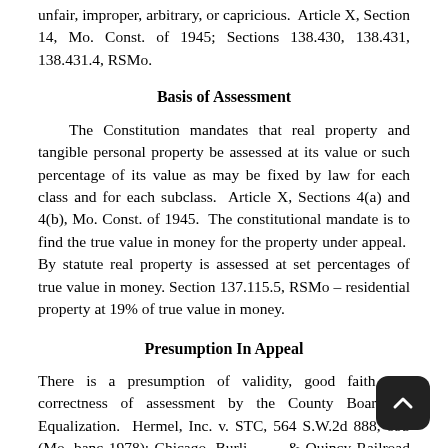unfair, improper, arbitrary, or capricious.  Article X, Section 14, Mo. Const. of 1945; Sections 138.430, 138.431, 138.431.4, RSMo.
Basis of Assessment
The Constitution mandates that real property and tangible personal property be assessed at its value or such percentage of its value as may be fixed by law for each class and for each subclass.  Article X, Sections 4(a) and 4(b), Mo. Const. of 1945.  The constitutional mandate is to find the true value in money for the property under appeal.  By statute real property is assessed at set percentages of true value in money. Section 137.115.5, RSMo – residential property at 19% of true value in money.
Presumption In Appeal
There is a presumption of validity, good faith and correctness of assessment by the County Board of Equalization.  Hermel, Inc. v. STC, 564 S.W.2d 888, 895 (Mo. banc 1978); Chicago, Burlington & Quincy Railroad Co. v. STC, 436 S.W.2d 650, 656 (Mo. 19…)